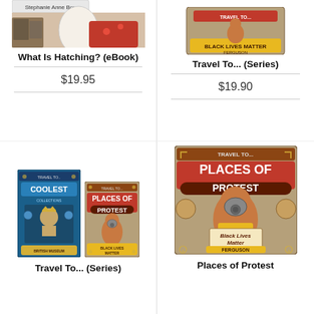[Figure (photo): Book cover for What Is Hatching? (eBook) showing a bowl with an egg and Stephanie Anne Box label]
What Is Hatching? (eBook)
$19.95
[Figure (photo): Book cover for Travel To... (Series) showing a Travel To... Places of Protest Black Lives Matter Ferguson cover]
Travel To... (Series)
$19.90
[Figure (photo): Two book covers for Travel To... Series: Coolest Collections and Places of Protest Black Lives Matter Ferguson]
Travel To... (Series)
[Figure (photo): Large book cover for Places of Protest - Travel To... Places of Protest Black Lives Matter Ferguson]
Places of Protest